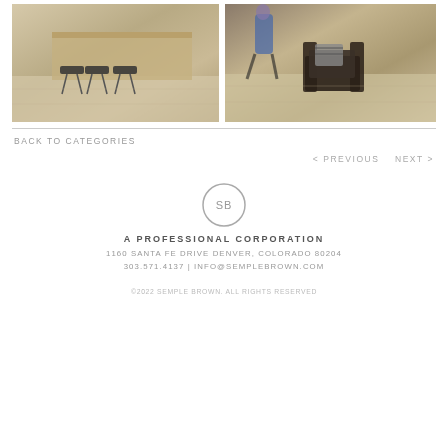[Figure (photo): Interior photo of bar stools in front of wooden counter/shelving with light wood flooring]
[Figure (photo): Interior photo of dark wooden chair with patterned cushion, person walking in background, light wood flooring]
BACK TO CATEGORIES
< PREVIOUS   NEXT >
[Figure (logo): SB monogram in circle]
A PROFESSIONAL CORPORATION
1160 SANTA FE DRIVE DENVER, COLORADO 80204
303.571.4137 | INFO@SEMPLEBROWN.COM
©2022 SEMPLE BROWN. ALL RIGHTS RESERVED